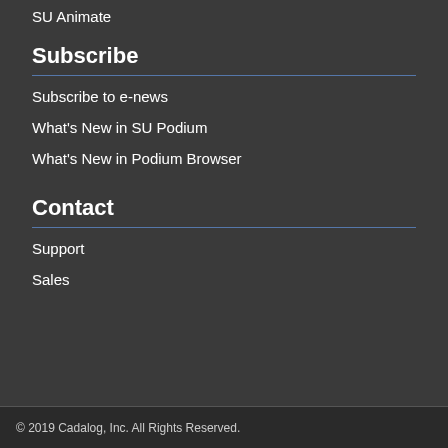SU Animate
Subscribe
Subscribe to e-news
What's New in SU Podium
What's New in Podium Browser
Contact
Support
Sales
© 2019 Cadalog, Inc. All Rights Reserved.